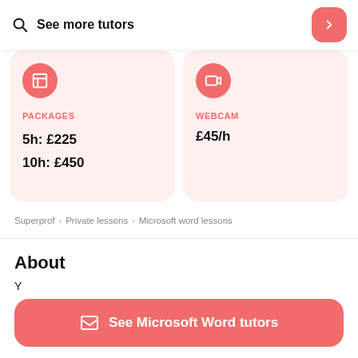See more tutors
PACKAGES
5h: £225
10h: £450
WEBCAM
£45/h
Superprof > Private Lessons > Microsoft word Lessons
About
See Microsoft Word tutors